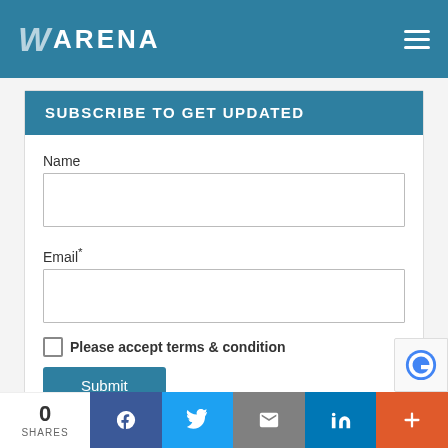WARENA
SUBSCRIBE TO GET UPDATED
Name
Email*
Please accept terms & condition
Submit
0 SHARES